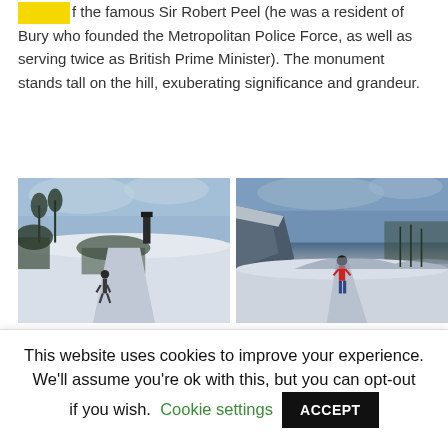of the famous Sir Robert Peel (he was a resident of Bury who founded the Metropolitan Police Force, as well as serving twice as British Prime Minister). The monument stands tall on the hill, exuberating significance and grandeur.
[Figure (photo): Two side-by-side winter landscape photographs. Left: snowy hillside path with a lone walker and a tall monument/tower visible in the distance against a grey sky. Right: snowy hilltop path with a person in a red jacket walking, rocky outcrop on left, snowy moorland stretching to the horizon.]
After you've checked out Peel Tower and the
This website uses cookies to improve your experience. We'll assume you're ok with this, but you can opt-out if you wish. Cookie settings ACCEPT